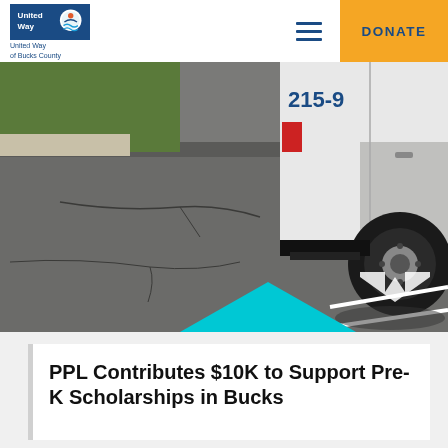United Way of Bucks County — DONATE
[Figure (photo): Outdoor parking lot photo showing a white van parked with partially visible phone number 215-9... on its side, asphalt with crack lines and white painted parking arrows, with a cyan/teal arrow shape at the bottom center of the image]
PPL Contributes $10K to Support Pre-K Scholarships in Bucks